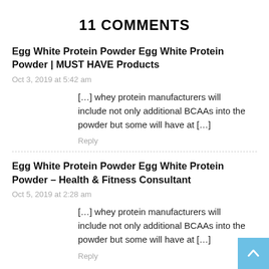11 COMMENTS
Egg White Protein Powder Egg White Protein Powder | MUST HAVE Products
Oct 3, 2019 at 5:42 am
[…] whey protein manufacturers will include not only additional BCAAs into the powder but some will have at […]
Reply
Egg White Protein Powder Egg White Protein Powder – Health & Fitness Consultant
Oct 5, 2019 at 2:28 am
[…] whey protein manufacturers will include not only additional BCAAs into the powder but some will have at […]
Reply